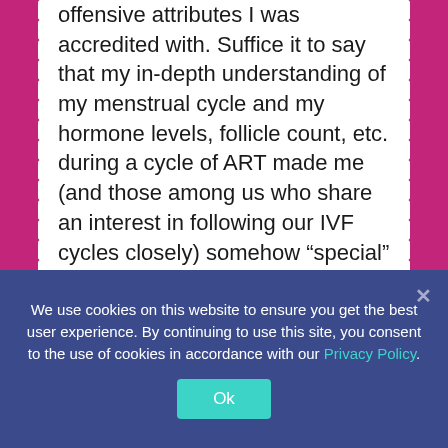offensive attributes I was accredited with. Suffice it to say that my in-depth understanding of my menstrual cycle and my hormone levels, follicle count, etc. during a cycle of ART made me (and those among us who share an interest in following our IVF cycles closely) somehow “special” and not so much in a good way.  I left feeling somehow humiliated and proud at the same time.  It was a very odd mix of feelings and I have spent the better part of several days trying to come to terms with how it made me feel to suddenly be having flashbacks to (and indeed nightmares about) IVF cycles
We use cookies on this website to ensure you get the best user experience. By continuing to use this site, you consent to the use of cookies in accordance with our Privacy Policy.